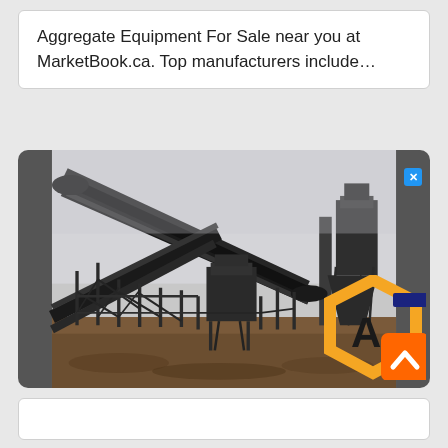Aggregate Equipment For Sale near you at MarketBook.ca. Top manufacturers include…
[Figure (photo): Industrial aggregate processing and conveyor belt equipment at a mining/quarry site. Large angled conveyor belts, steel support structures, crushers and processing machinery visible against a hazy sky. MarketBook.ca logo (hexagon with 'A') in lower right corner with scroll-to-top orange button.]